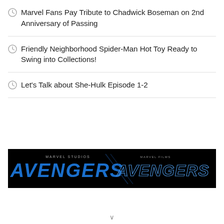Marvel Fans Pay Tribute to Chadwick Boseman on 2nd Anniversary of Passing
Friendly Neighborhood Spider-Man Hot Toy Ready to Swing into Collections!
Let's Talk about She-Hulk Episode 1-2
[Figure (photo): Dark banner image showing the Avengers logo twice — once in blue neon style on left (Marvel Studios branding) and once in outline style on right (Marvel Films branding), on a black background.]
v